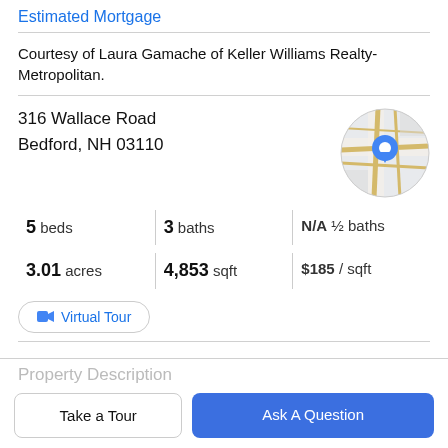Estimated Mortgage
Courtesy of Laura Gamache of Keller Williams Realty-Metropolitan.
316 Wallace Road
Bedford, NH 03110
[Figure (map): Circular map thumbnail showing street map with a blue location pin marker at 316 Wallace Road, Bedford, NH 03110]
5 beds | 3 baths | N/A ½ baths
3.01 acres | 4,853 sqft | $185 / sqft
Virtual Tour
Property Description
Take a Tour
Ask A Question